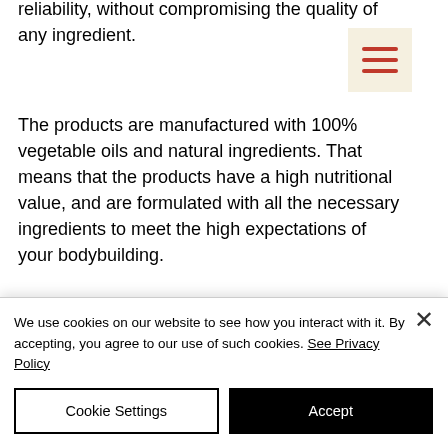reliability, without compromising the quality of any ingredient.
[Figure (other): Hamburger menu icon with three horizontal orange/red lines on a light yellow/cream background]
The products are manufactured with 100% vegetable oils and natural ingredients. That means that the products have a high nutritional value, and are formulated with all the necessary ingredients to meet the high expectations of your bodybuilding.
When it comes to product safety, Crazy Bulk Products is a 100% Satisfaction Guaranteed Company.
Here is a list of what's included in each
We use cookies on our website to see how you interact with it. By accepting, you agree to our use of such cookies. See Privacy Policy
Cookie Settings
Accept